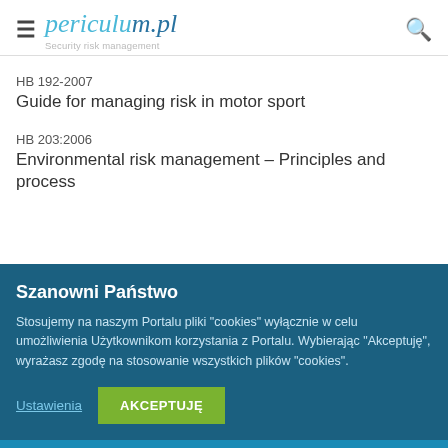periculum.pl — Security risk management
HB 192-2007
Guide for managing risk in motor sport
HB 203:2006
Environmental risk management – Principles and process
Szanowni Państwo
Stosujemy na naszym Portalu pliki "cookies" wyłącznie w celu umożliwienia Użytkownikom korzystania z Portalu. Wybierając "Akceptuję", wyrażasz zgodę na stosowanie wszystkich plików "cookies".
Ustawienia    AKCEPTUJĘ